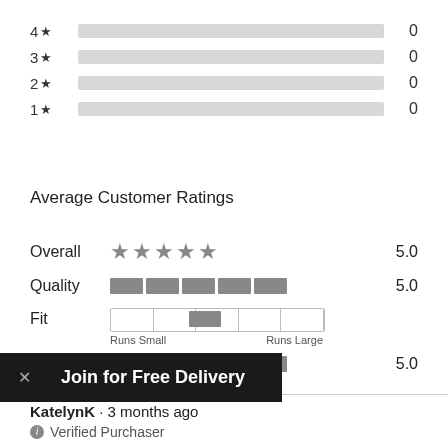[Figure (bar-chart): Star rating distribution]
Average Customer Ratings
Overall ★★★★★ 5.0
Quality 5.0
Fit Runs Small / Runs Large
Value 5.0
[Figure (infographic): Join for Free Delivery banner with close button]
KatelynK · 3 months ago
Verified Purchaser